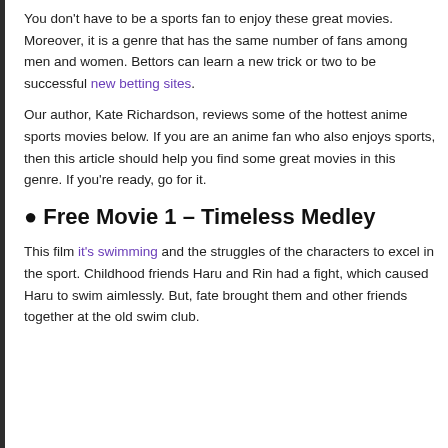You don't have to be a sports fan to enjoy these great movies. Moreover, it is a genre that has the same number of fans among men and women. Bettors can learn a new trick or two to be successful new betting sites.
Our author, Kate Richardson, reviews some of the hottest anime sports movies below. If you are an anime fan who also enjoys sports, then this article should help you find some great movies in this genre. If you're ready, go for it.
Free Movie 1 – Timeless Medley
This film it's swimming and the struggles of the characters to excel in the sport. Childhood friends Haru and Rin had a fight, which caused Haru to swim aimlessly. But, fate brought them and other friends together at the old swim club.